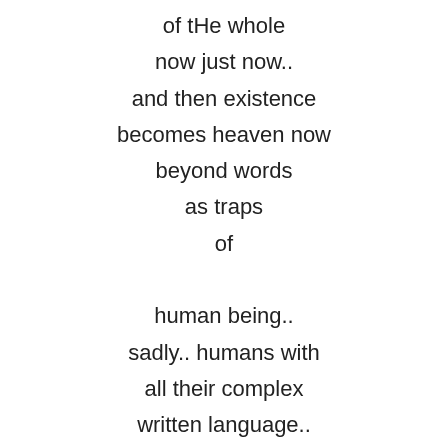of tHe whole
now just now..
and then existence
becomes heaven now
beyond words
as traps
of

human being..
sadly.. humans with
all their complex
written language..
recorded intelligence
and cultures are stunted
this way.. below all
the other animals
by concepts